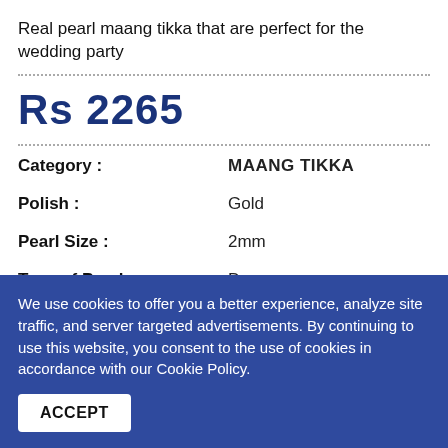Real pearl maang tikka that are perfect for the wedding party
Rs 2265
| Attribute | Value |
| --- | --- |
| Category : | MAANG TIKKA |
| Polish : | Gold |
| Pearl Size : | 2mm |
| Type of Pearl : | Drop |
We use cookies to offer you a better experience, analyze site traffic, and server targeted advertisements. By continuing to use this website, you consent to the use of cookies in accordance with our Cookie Policy.
ACCEPT